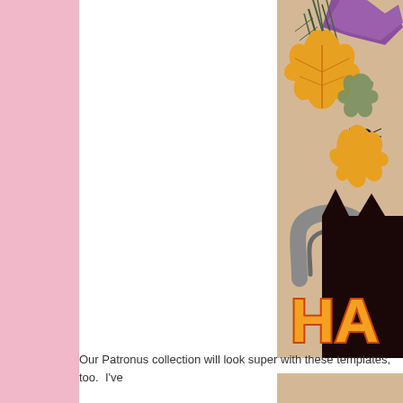[Figure (illustration): Halloween themed illustration showing autumn maple leaves in yellow/orange and purple, pine branches, a spider, a grey horseshoe or cauldron shape, a black cat silhouette, and partial orange block letters spelling 'HA' on a tan/kraft paper background.]
Our Patronus collection will look super with these templates, too.  I've
[Figure (illustration): Bottom snippet of another Halloween themed illustration visible at very bottom right of page.]